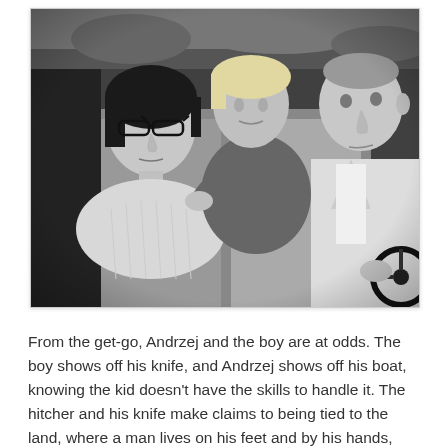[Figure (photo): Black and white film still showing three people in a car interior. A woman with cat-eye glasses sits in the front passenger seat looking forward. A young blond man leans forward from the back seat. An older man in a light suit with a dark tie sits in the driver's seat gripping the steering wheel.]
From the get-go, Andrzej and the boy are at odds. The boy shows off his knife, and Andrzej shows off his boat, knowing the kid doesn't have the skills to handle it. The hitcher and his knife make claims to being tied to the land, where a man lives on his feet and by his hands, where a knife is